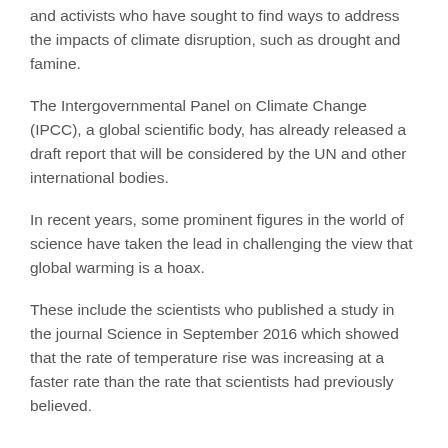and activists who have sought to find ways to address the impacts of climate disruption, such as drought and famine.
The Intergovernmental Panel on Climate Change (IPCC), a global scientific body, has already released a draft report that will be considered by the UN and other international bodies.
In recent years, some prominent figures in the world of science have taken the lead in challenging the view that global warming is a hoax.
These include the scientists who published a study in the journal Science in September 2016 which showed that the rate of temperature rise was increasing at a faster rate than the rate that scientists had previously believed.